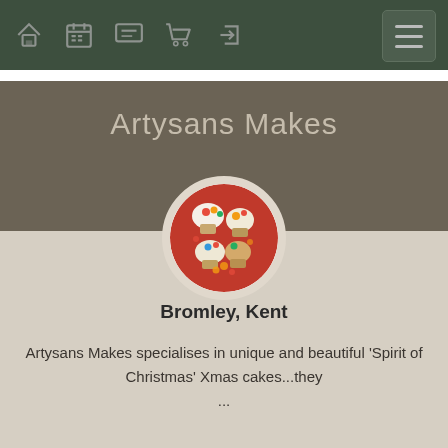Navigation bar with home, calendar, chat, cart, login icons and hamburger menu
Artysans Makes
[Figure (photo): Circular profile photo showing Christmas cupcakes/cakes on a red plate with colorful decorations]
Bromley, Kent
Artysans Makes specialises in unique and beautiful 'Spirit of Christmas' Xmas cakes...they ...